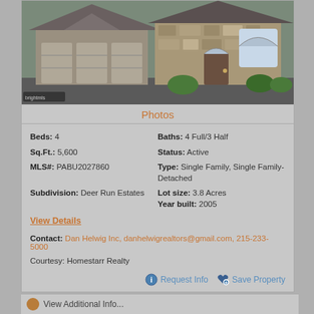[Figure (photo): Exterior photo of a large stone and stucco single family home with three-car garage and arched windows]
Photos
Beds: 4
Baths: 4 Full/3 Half
Sq.Ft.: 5,600
Status: Active
MLS#: PABU2027860
Type: Single Family, Single Family-Detached
Subdivision: Deer Run Estates
Lot size: 3.8 Acres
Year built: 2005
View Details
Contact: Dan Helwig Inc, danhelwigrealtors@gmail.com, 215-233-5000
Courtesy: Homestarr Realty
Request Info
Save Property